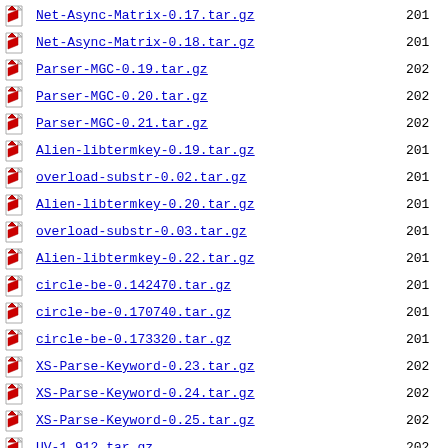Net-Async-Matrix-0.17.tar.gz  201
Net-Async-Matrix-0.18.tar.gz  201
Parser-MGC-0.19.tar.gz  202
Parser-MGC-0.20.tar.gz  202
Parser-MGC-0.21.tar.gz  202
Alien-libtermkey-0.19.tar.gz  201
overload-substr-0.02.tar.gz  201
Alien-libtermkey-0.20.tar.gz  201
overload-substr-0.03.tar.gz  201
Alien-libtermkey-0.22.tar.gz  201
circle-be-0.142470.tar.gz  201
circle-be-0.170740.tar.gz  201
circle-be-0.173320.tar.gz  201
XS-Parse-Keyword-0.23.tar.gz  202
XS-Parse-Keyword-0.24.tar.gz  202
XS-Parse-Keyword-0.25.tar.gz  202
UV-1.912.tar.gz  202
Net-Async-HTTP-0.48.tar.gz  201